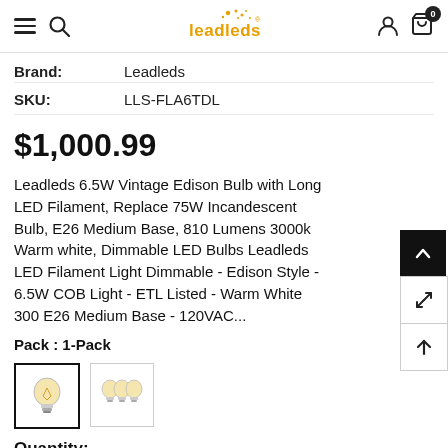Leadleds store header with hamburger, search, logo, user, and cart (0) icons
Brand: Leadleds
SKU: LLS-FLA6TDL
$1,000.99
Leadleds 6.5W Vintage Edison Bulb with Long LED Filament, Replace 75W Incandescent Bulb, E26 Medium Base, 810 Lumens 3000k Warm white, Dimmable LED Bulbs Leadleds LED Filament Light Dimmable - Edison Style - 6.5W COB Light - ETL Listed - Warm White 300 E26 Medium Base - 120VAC...
Pack : 1-Pack
[Figure (photo): Thumbnail image 1 (active/selected): single Edison bulb product photo]
[Figure (photo): Thumbnail image 2: multiple Edison bulbs product photo]
Quantity: